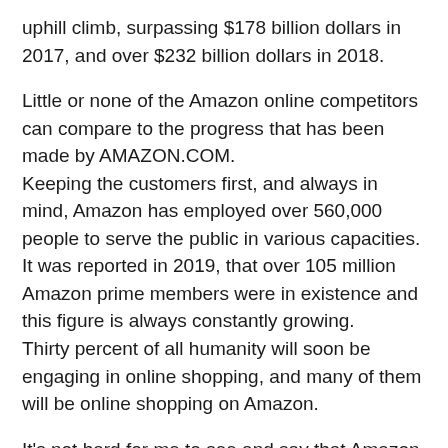uphill climb, surpassing $178 billion dollars in 2017, and over $232 billion dollars in 2018.
Little or none of the Amazon online competitors can compare to the progress that has been made by AMAZON.COM. Keeping the customers first, and always in mind, Amazon has employed over 560,000 people to serve the public in various capacities. It was reported in 2019, that over 105 million Amazon prime members were in existence and this figure is always constantly growing. Thirty percent of all humanity will soon be engaging in online shopping, and many of them will be online shopping on Amazon.
It's not hard for me to see and say that Amazon is the future of shopping!